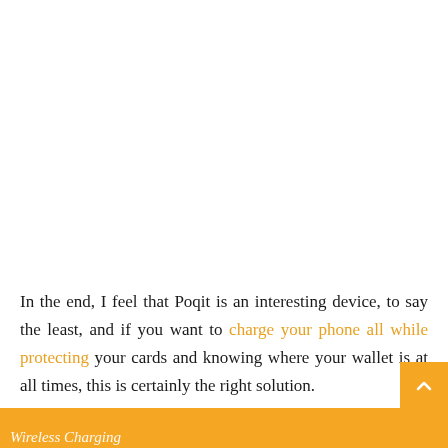In the end, I feel that Poqit is an interesting device, to say the least, and if you want to charge your phone all while protecting your cards and knowing where your wallet is at all times, this is certainly the right solution.
Wireless Charging